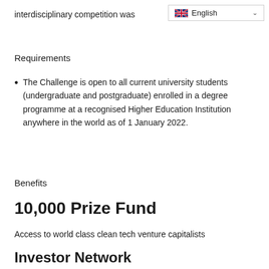interdisciplinary competition was
[Figure (screenshot): Language selector dropdown showing UK flag and 'English' with a chevron/dropdown arrow]
Requirements
The Challenge is open to all current university students (undergraduate and postgraduate) enrolled in a degree programme at a recognised Higher Education Institution anywhere in the world as of 1 January 2022.
Benefits
10,000 Prize Fund
Access to world class clean tech venture capitalists
Investor Network